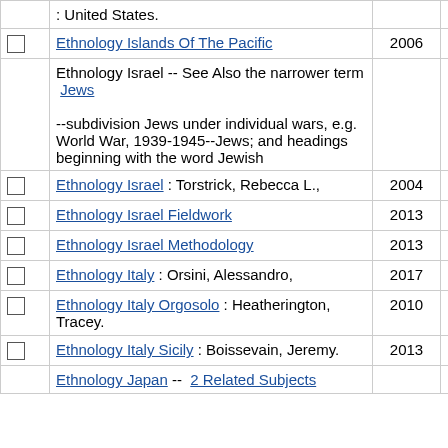|  | Subject | Year | Count |
| --- | --- | --- | --- |
|  | : United States. |  |  |
| ☐ | Ethnology Islands Of The Pacific | 2006 | 1 |
|  | Ethnology Israel -- See Also the narrower term Jews

--subdivision Jews under individual wars, e.g. World War, 1939-1945--Jews; and headings beginning with the word Jewish |  | 1 |
| ☐ | Ethnology Israel : Torstrick, Rebecca L., | 2004 | 1 |
| ☐ | Ethnology Israel Fieldwork | 2013 | 1 |
| ☐ | Ethnology Israel Methodology | 2013 | 1 |
| ☐ | Ethnology Italy : Orsini, Alessandro, | 2017 | 1 |
| ☐ | Ethnology Italy Orgosolo : Heatherington, Tracey. | 2010 | 1 |
| ☐ | Ethnology Italy Sicily : Boissevain, Jeremy. | 2013 | 1 |
|  | Ethnology Japan -- 2 Related Subjects |  | 2 |